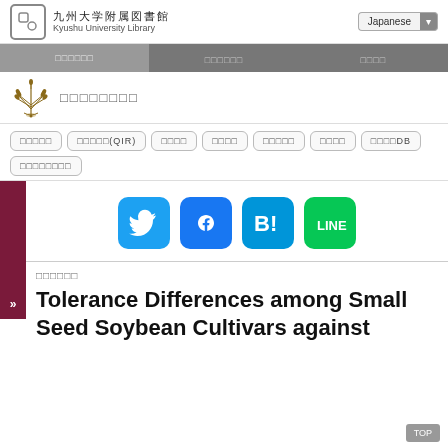九州大学附属図書館 Kyushu University Library
Japanese
□□□□□□ □□□□□□ □□□□
[Figure (logo): Kyushu University emblem/crest with wheat sheaves]
□□□□□□□□
□□□□□
□□□□□(QIR)
□□□□
□□□□
□□□□□
□□□□
□□□□DB
□□□□□□□□
[Figure (logo): Twitter social media icon - blue bird logo button]
[Figure (logo): Facebook social media icon - blue F logo button]
[Figure (logo): Hatena Bookmark icon - blue B! logo button]
[Figure (logo): LINE app icon - green LINE logo button]
□□□□□□
Tolerance Differences among Small Seed Soybean Cultivars against